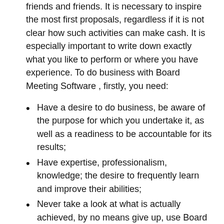friends and friends. It is necessary to inspire the most first proposals, regardless if it is not clear how such activities can make cash. It is especially important to write down exactly what you like to perform or where you have experience. To do business with Board Meeting Software , firstly, you need:
Have a desire to do business, be aware of the purpose for which you undertake it, as well as a readiness to be accountable for its results;
Have expertise, professionalism, knowledge; the desire to frequently learn and improve their abilities;
Never take a look at what is actually achieved, by no means give up, use Board Software;
Have means; relying just on its own methods, the business owner significantly decreases the risks, but at the same time minimizes the business prospects.